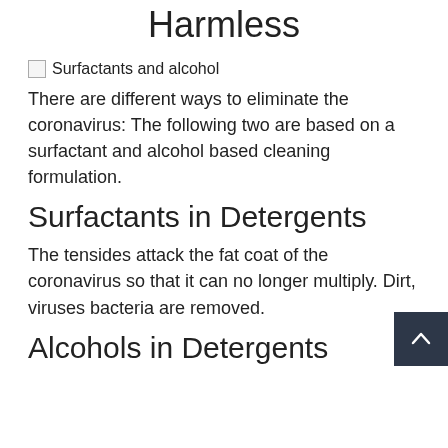Harmless
[Figure (photo): Broken image placeholder labeled 'Surfactants and alcohol']
There are different ways to eliminate the coronavirus: The following two are based on a surfactant and alcohol based cleaning formulation.
Surfactants in Detergents
The tensides attack the fat coat of the coronavirus so that it can no longer multiply. Dirt, viruses bacteria are removed.
Alcohols in Detergents